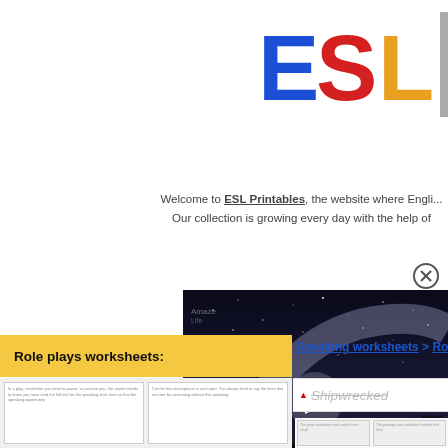[Figure (logo): ESL Printables logo with colorful letters E (blue), S (red), L (orange/yellow) in large bold font, top right corner]
Welcome to ESL Printables, the website where Engli... Our collection is growing every day with the help of
[Figure (screenshot): Video player showing night sky / Milky Way landscape with a white play button triangle in the center, with a circular close (X) button in the top right]
Role plays worksheets:
Speaking worksheets > Role plays >
Shipwrecked
Shipw...
The classi...
[Figure (screenshot): Two small worksheet thumbnail previews at bottom left showing text content]